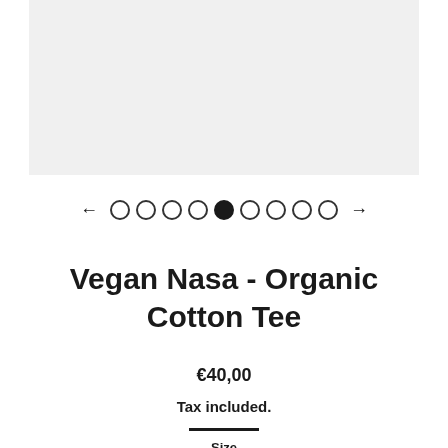[Figure (photo): Product image area with light gray background, partially cropped at top]
[Figure (other): Image carousel navigation with left arrow, 8 dots (5th filled), and right arrow]
Vegan Nasa - Organic Cotton Tee
€40,00
Tax included.
Size